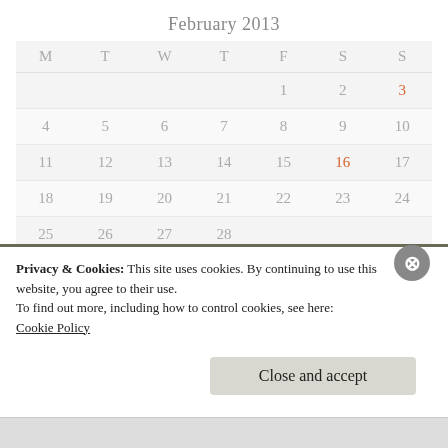February 2013
| M | T | W | T | F | S | S |
| --- | --- | --- | --- | --- | --- | --- |
|  |  |  |  | 1 | 2 | 3 |
| 4 | 5 | 6 | 7 | 8 | 9 | 10 |
| 11 | 12 | 13 | 14 | 15 | 16 | 17 |
| 18 | 19 | 20 | 21 | 22 | 23 | 24 |
| 25 | 26 | 27 | 28 |  |  |  |
« Jan   Mar »
Privacy & Cookies: This site uses cookies. By continuing to use this website, you agree to their use.
To find out more, including how to control cookies, see here:
Cookie Policy
Close and accept